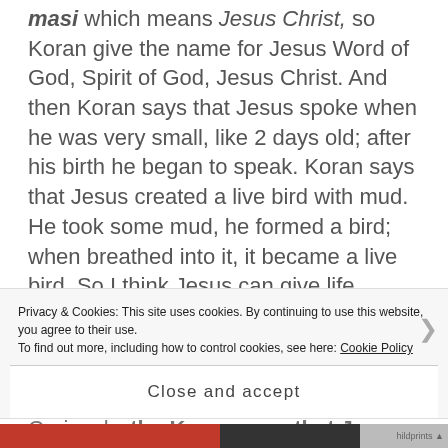masi which means Jesus Christ, so Koran give the name for Jesus Word of God, Spirit of God, Jesus Christ. And then Koran says that Jesus spoke when he was very small, like 2 days old; after his birth he began to speak. Koran says that Jesus created a live bird with mud. He took some mud, he formed a bird; when breathed into it, it became a live bird. So I think Jesus can give life because he gave life to mud, clay. Then Koran says that Jesus cured a man born blind and a man with leprosy, etc.
Curiously, the Koran says that Jesus gave life to
Privacy & Cookies: This site uses cookies. By continuing to use this website, you agree to their use.
To find out more, including how to control cookies, see here: Cookie Policy
Close and accept